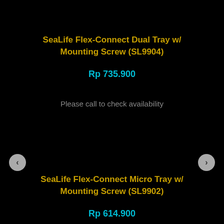SeaLife Flex-Connect Dual Tray w/ Mounting Screw (SL9904)
Rp 735.900
Please call to check availability
SeaLife Flex-Connect Micro Tray w/ Mounting Screw (SL9902)
Rp 614.900